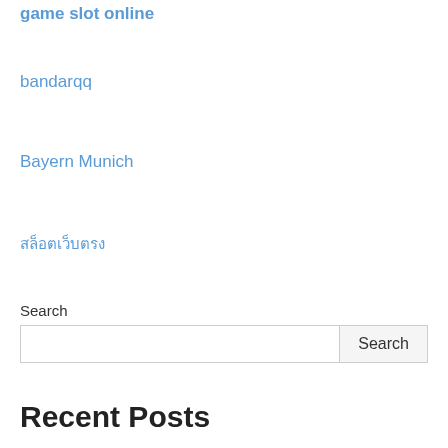game slot online
bandarqq
Bayern Munich
สล็อตเว็บตรง
Search
Recent Posts